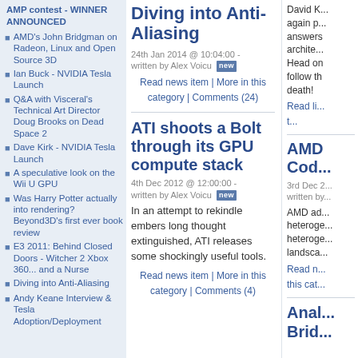AMP contest - WINNER ANNOUNCED
AMD's John Bridgman on Radeon, Linux and Open Source 3D
Ian Buck - NVIDIA Tesla Launch
Q&A with Visceral's Technical Art Director Doug Brooks on Dead Space 2
Dave Kirk - NVIDIA Tesla Launch
A speculative look on the Wii U GPU
Was Harry Potter actually into rendering? Beyond3D's first ever book review
E3 2011: Behind Closed Doors - Witcher 2 Xbox 360... and a Nurse
Diving into Anti-Aliasing
Andy Keane Interview & Tesla Adoption/Deployment
Diving into Anti-Aliasing
24th Jan 2014 @ 10:04:00 - written by Alex Voicu
Read news item | More in this category | Comments (24)
David K... again p... answers archite... Head on follow th death!
ATI shoots a Bolt through its GPU compute stack
AMD Code...
4th Dec 2012 @ 12:00:00 - written by Alex Voicu
3rd Dec 2... written by...
In an attempt to rekindle embers long thought extinguished, ATI releases some shockingly useful tools.
AMD ad... heteroge... heteroge... landsca...
Read news item | More in this category | Comments (4)
Read n... this cat...
Anal... Brid...